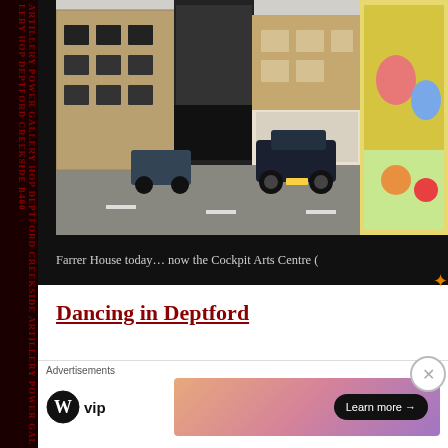[Figure (photo): Street scene showing Farrer House, now the Cockpit Arts Centre. A dark car is parked/driving on a street in front of brick and modern buildings. Decorative painted artwork visible on far right building.]
Farrer House today… now the Cockpit Arts Centre (
Dancing in Deptford
Creekside is also home to the Laban Dance Centre; a majo
Advertisements
[Figure (logo): WordPress VIP logo with circular W icon and 'vip' text]